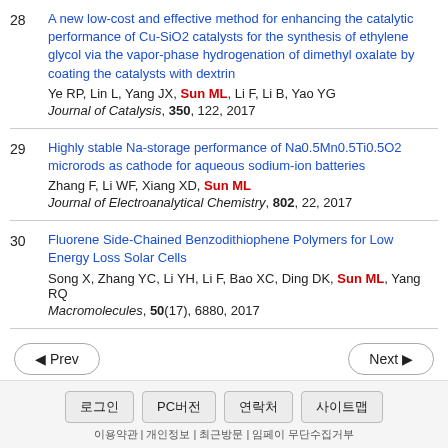28. A new low-cost and effective method for enhancing the catalytic performance of Cu-SiO2 catalysts for the synthesis of ethylene glycol via the vapor-phase hydrogenation of dimethyl oxalate by coating the catalysts with dextrin. Ye RP, Lin L, Yang JX, Sun ML, Li F, Li B, Yao YG. Journal of Catalysis, 350, 122, 2017
29. Highly stable Na-storage performance of Na0.5Mn0.5Ti0.5O2 microrods as cathode for aqueous sodium-ion batteries. Zhang F, Li WF, Xiang XD, Sun ML. Journal of Electroanalytical Chemistry, 802, 22, 2017
30. Fluorene Side-Chained Benzodithiophene Polymers for Low Energy Loss Solar Cells. Song X, Zhang YC, Li YH, Li F, Bao XC, Ding DK, Sun ML, Yang RQ. Macromolecules, 50(17), 6880, 2017
◀ Prev  Next ▶  로그인  PC버전  연락처  사이트맵